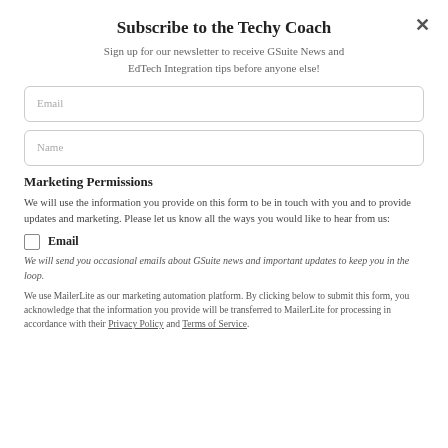Subscribe to the Techy Coach
Sign up for our newsletter to receive GSuite News and EdTech Integration tips before anyone else!
Email
Name
Marketing Permissions
We will use the information you provide on this form to be in touch with you and to provide updates and marketing. Please let us know all the ways you would like to hear from us:
Email
We will send you occasional emails about GSuite news and important updates to keep you in the loop.
We use MailerLite as our marketing automation platform. By clicking below to submit this form, you acknowledge that the information you provide will be transferred to MailerLite for processing in accordance with their Privacy Policy and Terms of Service.